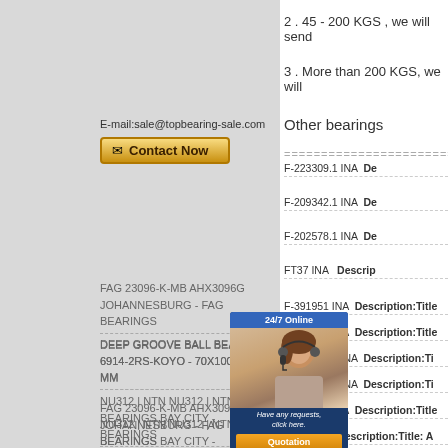2 . 45 - 200 KGS , we will send
3 . More than 200 KGS, we will
Other bearings
E-mail:sale@topbearing-sale.com
[Figure (other): Contact Now button with email icon]
FAG 23096-K-MB AHX3096G JOHANNESBURG - FAG BEARINGS
DEEP GROOVE BALL BEARING 6914-2RS-KOYO - 70X100X16 MM
NU312 | NTN NU312 | NTN BEARINGS BAY CITY - BEARINGS
NJ2260 NTN BEARING BEARING STOCK BRAND BEARING SALE
TIMKEN 375/372A – BALL ROLLER BEARINGS SUPPLIER
BS2-2214-2CSK/VT143 SKE
F-223309.1 INA  Description:Ti
F-209342.1 INA  Description:Ti
F-202578.1 INA  Description:De
FT37 INA  Description:
F-391951 INA  Description:Title
F-223821 INA  Description:Title
F-216642.1 INA  Description:Ti
F-227843.1 INA  Description:Ti
F-550381 INA  Description:Title
FT32 INA  Description:Title: A
[Figure (photo): 24/7 Online chat overlay with customer service representative photo and Quotation button]